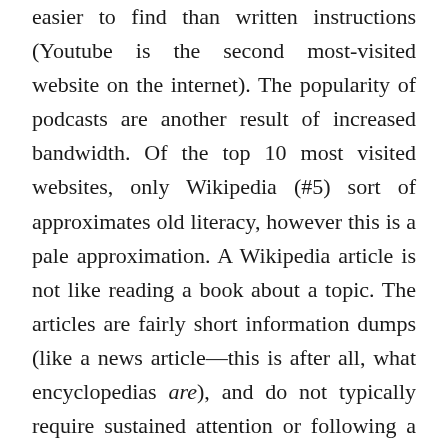easier to find than written instructions (Youtube is the second most-visited website on the internet). The popularity of podcasts are another result of increased bandwidth. Of the top 10 most visited websites, only Wikipedia (#5) sort of approximates old literacy, however this is a pale approximation. A Wikipedia article is not like reading a book about a topic. The articles are fairly short information dumps (like a news article—this is after all, what encyclopedias are), and do not typically require sustained attention or following a lengthy logical chain that one gets in a proper book. A few paragraphs of text describing a thing is the most sustained engagement in literacy many or even most people have now. If you think all of this has no effect on society, or perhaps like the early 1960s researchers claiming that television did not affect literacy or